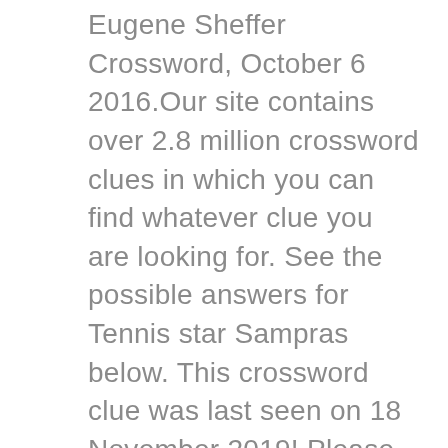Eugene Sheffer Crossword, October 6 2016.Our site contains over 2.8 million crossword clues in which you can find whatever clue you are looking for. See the possible answers for Tennis star Sampras below. This crossword clue was last seen on 18 November 2019! Please find below all the Tennis star Sampras crossword clue answers and solutions for the Thomas Joseph Crossword October 26 2020 Answers. Optionally, provide word lengths or an answer pattern to improve results. Tennis star Sampras is a crossword puzzle clue that we have spotted 16 times. __ Sampras, 1990s US tennis star. You already know the answers has 4 letters. The CroswodSolver.com system found 25 answers for __ sampras extennis star crossword clue. Look no further because you will find whatever you are looking for in here. This clue was last seen on Thomas Joseph, February 1 2018 Crossword. If you